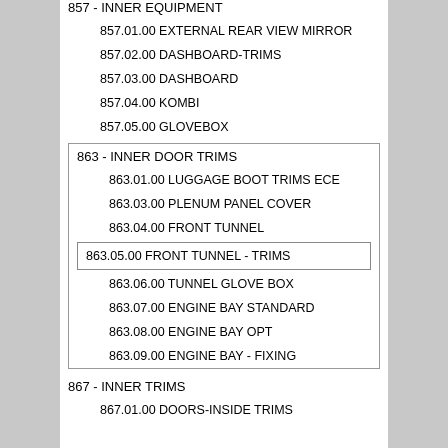857 - INNER EQUIPMENT
857.01.00 EXTERNAL REAR VIEW MIRROR
857.02.00 DASHBOARD-TRIMS
857.03.00 DASHBOARD
857.04.00 KOMBI
857.05.00 GLOVEBOX
863 - INNER DOOR TRIMS
863.01.00 LUGGAGE BOOT TRIMS ECE
863.03.00 PLENUM PANEL COVER
863.04.00 FRONT TUNNEL
863.05.00 FRONT TUNNEL - TRIMS
863.06.00 TUNNEL GLOVE BOX
863.07.00 ENGINE BAY STANDARD
863.08.00 ENGINE BAY OPT
863.09.00 ENGINE BAY - FIXING
867 - INNER TRIMS
867.01.00 DOORS-INSIDE TRIMS